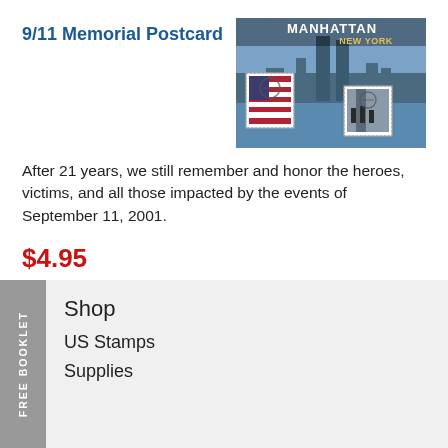9/11 Memorial Postcard
[Figure (photo): 9/11 Memorial Postcard image showing Manhattan New York with the Twin Towers and American flag stamps]
After 21 years, we still remember and honor the heroes, victims, and all those impacted by the events of September 11, 2001.
$4.95
BUY NOW
Shop
US Stamps
Supplies
FREE BOOKLET